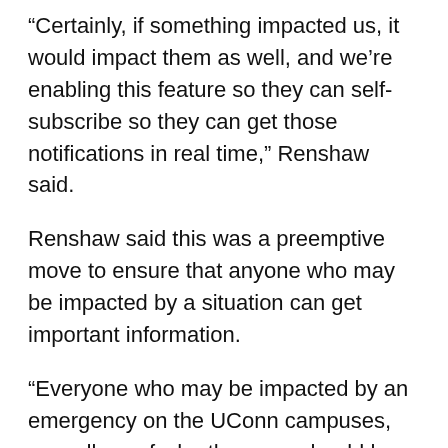“Certainly, if something impacted us, it would impact them as well, and we’re enabling this feature so they can self-subscribe so they can get those notifications in real time,” Renshaw said.
Renshaw said this was a preemptive move to ensure that anyone who may be impacted by a situation can get important information.
“Everyone who may be impacted by an emergency on the UConn campuses, regardless of who they are, should have access to this information,” Renshaw said.
Renshaw said that, while the system is already rather comprehensive, this new dimension expands it even further.
“It’s just another layer of notification(s) into an already robust system,” Renshaw said.